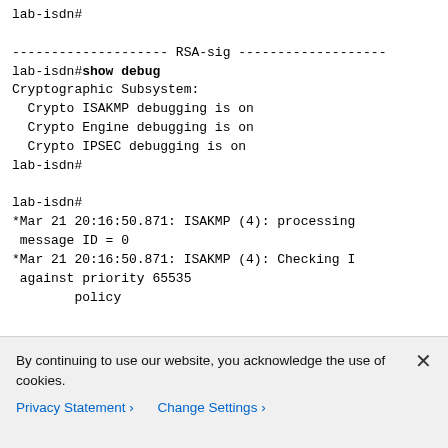lab-isdn#

-------------------- RSA-sig -------------------
lab-isdn#show debug
Cryptographic Subsystem:
  Crypto ISAKMP debugging is on
  Crypto Engine debugging is on
  Crypto IPSEC debugging is on
lab-isdn#

lab-isdn#
*Mar 21 20:16:50.871: ISAKMP (4): processing
 message ID = 0
*Mar 21 20:16:50.871: ISAKMP (4): Checking I
 against priority 65535
        policy
By continuing to use our website, you acknowledge the use of cookies.
Privacy Statement > Change Settings >